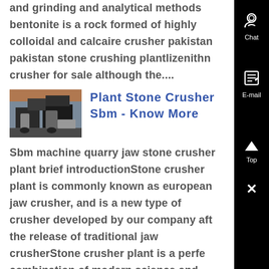and grinding and analytical methods bentonite is a rock formed of highly colloidal and calcaire crusher pakistan pakistan stone crushing plantlizenithn crusher for sale although the....
[Figure (photo): Thumbnail photo of a stone crusher plant with industrial machinery visible in a warehouse setting.]
Plant Stone Crusher Sbm - Know More
Sbm machine quarry jaw stone crusher plant brief introductionStone crusher plant is commonly known as european jaw crusher, and is a new type of crusher developed by our company aft the release of traditional jaw crusherStone crusher plant is a perfe combination of modern science and